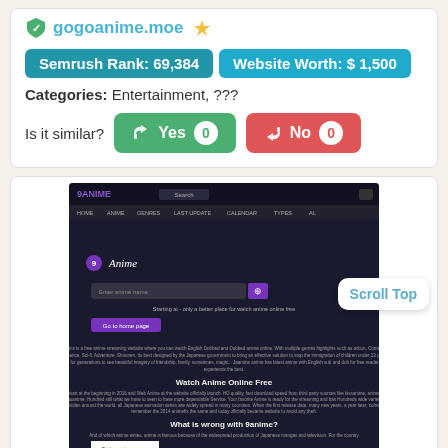gogoanime.moe
Semrush Rank: 69,384   Website Worth: $ 1,500
Categories: Entertainment, ???
Is it similar?  Yes 0   No 0
[Figure (screenshot): Screenshot of 9Anime website showing a dark-themed anime streaming interface with search bar, navigation menu, and 'Watch Anime Online Free' section. Watermark: $iteprice.org]
Scroll Top
Like 0